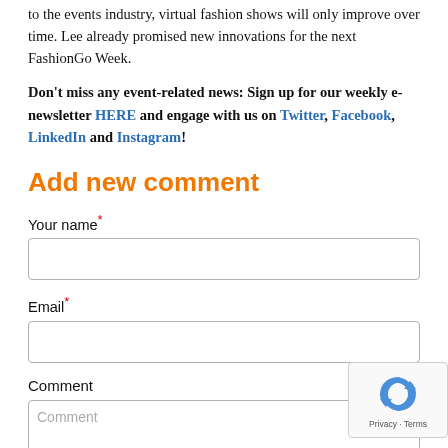to the events industry, virtual fashion shows will only improve over time. Lee already promised new innovations for the next FashionGo Week.
Don’t miss any event-related news: Sign up for our weekly e-newsletter HERE and engage with us on Twitter, Facebook, LinkedIn and Instagram!
Add new comment
Your name*
Email*
Comment